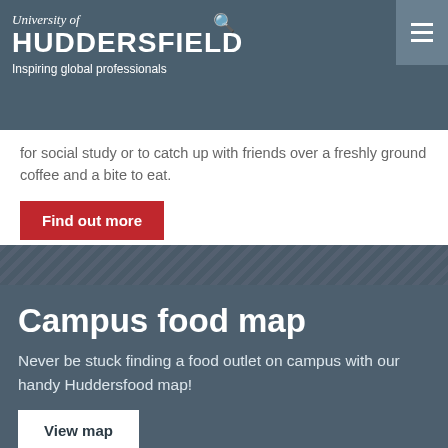University of HUDDERSFIELD Inspiring global professionals
for social study or to catch up with friends over a freshly ground coffee and a bite to eat.
Find out more
Campus food map
Never be stuck finding a food outlet on campus with our handy Huddersfood map!
View map